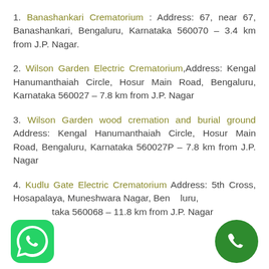1. Banashankari Crematorium : Address: 67, near 67, Banashankari, Bengaluru, Karnataka 560070 – 3.4 km from J.P. Nagar.
2. Wilson Garden Electric Crematorium,Address: Kengal Hanumanthaiah Circle, Hosur Main Road, Bengaluru, Karnataka 560027 – 7.8 km from J.P. Nagar
3. Wilson Garden wood cremation and burial ground Address: Kengal Hanumanthaiah Circle, Hosur Main Road, Bengaluru, Karnataka 560027P – 7.8 km from J.P. Nagar
4. Kudlu Gate Electric Crematorium Address: 5th Cross, Hosapalaya, Muneshwara Nagar, Bengaluru, Karnataka 560068 – 11.8 km from J.P. Nagar
[Figure (logo): WhatsApp icon button at bottom left]
[Figure (logo): Phone call icon button at bottom right]